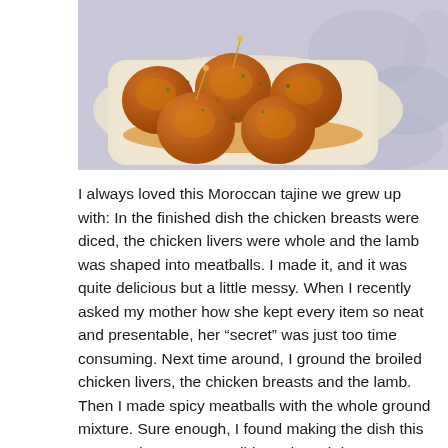[Figure (photo): A plate of golden-brown fried meatballs (Moroccan tajine style) garnished with herbs, served on a white rectangular platter with toothpicks inserted, placed on a decorative lace-patterned surface.]
I always loved this Moroccan tajine we grew up with: In the finished dish the chicken breasts were diced, the chicken livers were whole and the lamb was shaped into meatballs. I made it, and it was quite delicious but a little messy. When I recently asked my mother how she kept every item so neat and presentable, her “secret” was just too time consuming. Next time around, I ground the broiled chicken livers, the chicken breasts and the lamb. Then I made spicy meatballs with the whole ground mixture. Sure enough, I found making the dish this way much more accessible and much lower maintenance, and every bit as good.